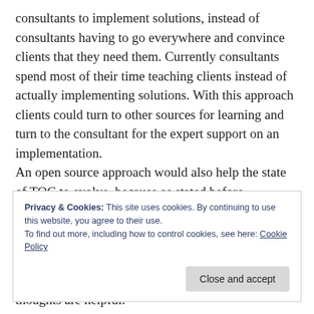consultants to implement solutions, instead of consultants having to go everywhere and convince clients that they need them. Currently consultants spend most of their time teaching clients instead of actually implementing solutions. With this approach clients could turn to other sources for learning and turn to the consultant for the expert support on an implementation.
An open source approach would also help the state of TOC to evolve, because as stated before consultants are usually very jealous with their
Privacy & Cookies: This site uses cookies. By continuing to use this website, you agree to their use.
To find out more, including how to control cookies, see here: Cookie Policy
thoughts are helpful.